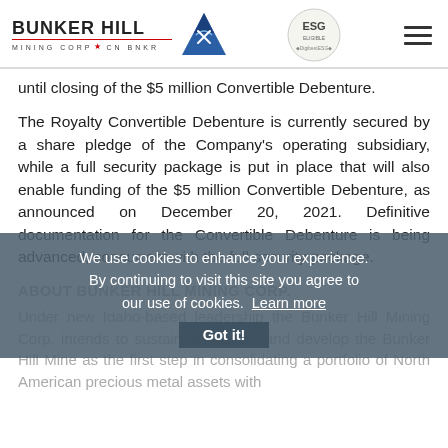BUNKER HILL MINING CORP · CN BNKR — ESG logo — hamburger menu
until closing of the $5 million Convertible Debenture.
The Royalty Convertible Debenture is currently secured by a share pledge of the Company's operating subsidiary, while a full security package is put in place that will also enable funding of the $5 million Convertible Debenture, as announced on December 20, 2021. Definitive documentation for the Convertible Debenture is being advanced, concurrent with the full security package.
ABOUT BUNKER HILL MINING CORP.
Under new Idaho-based leadership the Bunker Hill Mining Corp. intends to sustainably restart and develop the Bunker Hill Mine as the first step in consolidating a portfolio of North American precious metal assets with
We use cookies to enhance your experience. By continuing to visit this site you agree to our use of cookies. Learn more
Got it!